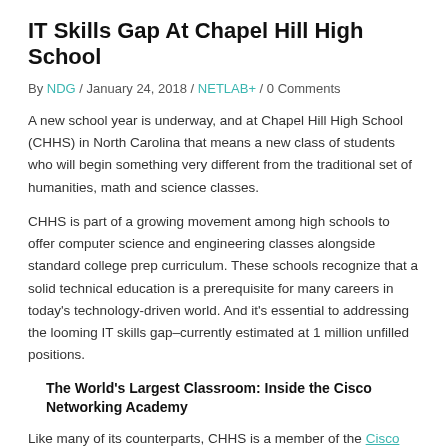IT Skills Gap At Chapel Hill High School
By NDG / January 24, 2018 / NETLAB+ / 0 Comments
A new school year is underway, and at Chapel Hill High School (CHHS) in North Carolina that means a new class of students who will begin something very different from the traditional set of humanities, math and science classes.
CHHS is part of a growing movement among high schools to offer computer science and engineering classes alongside standard college prep curriculum. These schools recognize that a solid technical education is a prerequisite for many careers in today’s technology-driven world. And it’s essential to addressing the looming IT skills gap–currently estimated at 1 million unfilled positions.
The World’s Largest Classroom: Inside the Cisco Networking Academy
Like many of its counterparts, CHHS is a member of the Cisco Networking Academy (NetAcad). NetAcad is a corporate social